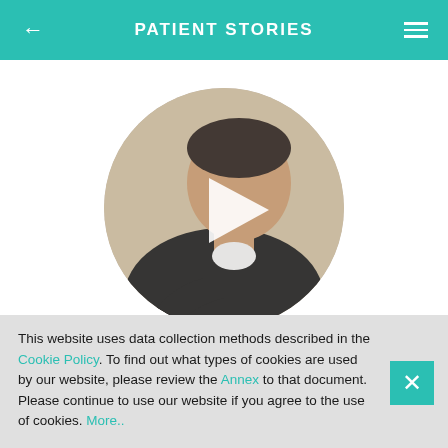PATIENT STORIES
[Figure (photo): Circular video thumbnail showing a middle-aged man in a black sweater, seated, with a white play button overlay in the center]
This website uses data collection methods described in the Cookie Policy. To find out what types of cookies are used by our website, please review the Annex to that document. Please continue to use our website if you agree to the use of cookies. More..